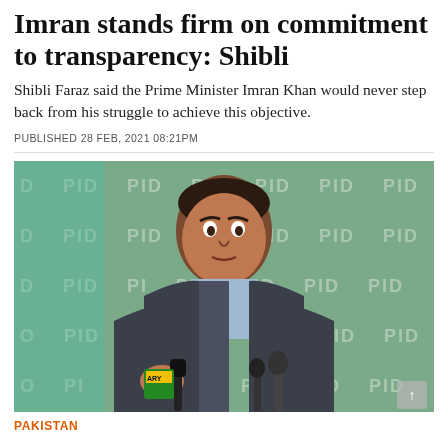Imran stands firm on commitment to transparency: Shibli
Shibli Faraz said the Prime Minister Imran Khan would never step back from his struggle to achieve this objective.
PUBLISHED 28 FEB, 2021 08:21PM
[Figure (photo): Shibli Faraz speaking at a press conference in front of a green PID-branded backdrop with microphones in front of him.]
PAKISTAN